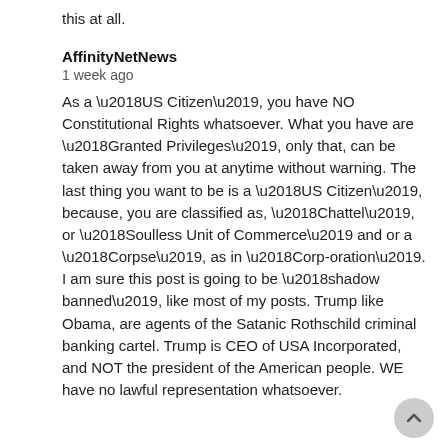this at all.
AffinityNetNews
1 week ago
As a ‘US Citizen’, you have NO Constitutional Rights whatsoever. What you have are ‘Granted Privileges’, only that, can be taken away from you at anytime without warning. The last thing you want to be is a ‘US Citizen’, because, you are classified as, ‘Chattel’, or ‘Soulless Unit of Commerce’ and or a ‘Corpse’, as in ‘Corp-oration’. I am sure this post is going to be ‘shadow banned’, like most of my posts. Trump like Obama, are agents of the Satanic Rothschild criminal banking cartel. Trump is CEO of USA Incorporated, and NOT the president of the American people. WE have no lawful representation whatsoever.